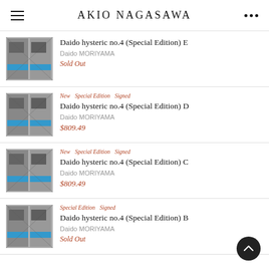AKIO NAGASAWA
Daido hysteric no.4 (Special Edition) E | Daido MORIYAMA | Sold Out
New  Special Edition  Signed | Daido hysteric no.4 (Special Edition) D | Daido MORIYAMA | $809.49
New  Special Edition  Signed | Daido hysteric no.4 (Special Edition) C | Daido MORIYAMA | $809.49
Special Edition  Signed | Daido hysteric no.4 (Special Edition) B | Daido MORIYAMA | Sold Out